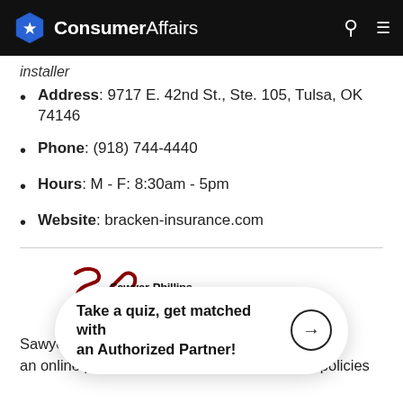ConsumerAffairs
installer
Address: 9717 E. 42nd St., Ste. 105, Tulsa, OK 74146
Phone: (918) 744-4440
Hours: M - F: 8:30am - 5pm
Website: bracken-insurance.com
[Figure (logo): Sawyer-Phillips Insurance logo with stylized SP monogram in red/dark red]
Sawye… to an online portal that allows them to view their policies
Take a quiz, get matched with an Authorized Partner!